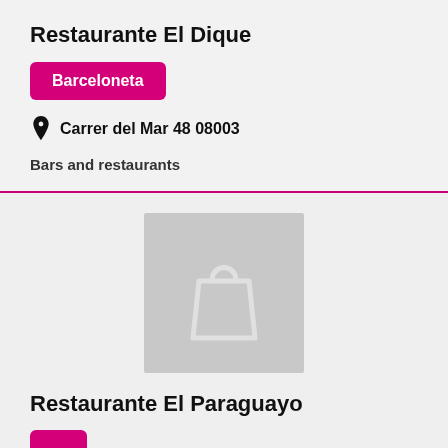Restaurante El Dique
Barceloneta
Carrer del Mar 48 08003
Bars and restaurants
[Figure (illustration): Placeholder shopping bag icon on grey background]
Restaurante El Paraguayo
(tag pill, partially visible)